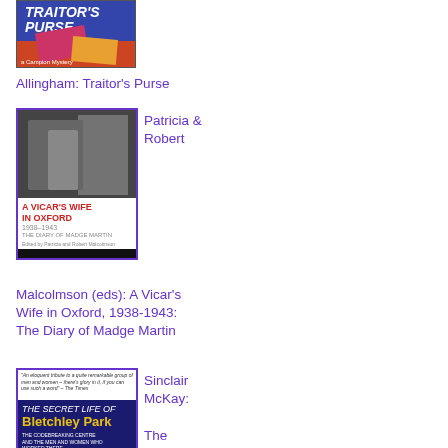[Figure (illustration): Book cover of Allingham: Traitor's Purse, showing a red purse and yellow box on a blue background]
Allingham: Traitor's Purse
[Figure (illustration): Book cover of A Vicar's Wife in Oxford 1938-1943: The Diary of Madge Martin, showing black and white photograph of people near a building]
Patricia & Robert
Malcolmson (eds): A Vicar's Wife in Oxford, 1938-1943: The Diary of Madge Martin
[Figure (illustration): Book cover of The Secret Life of Bletchley Park, showing a man in uniform and a building]
Sinclair McKay: The Secret Life of Bletchley